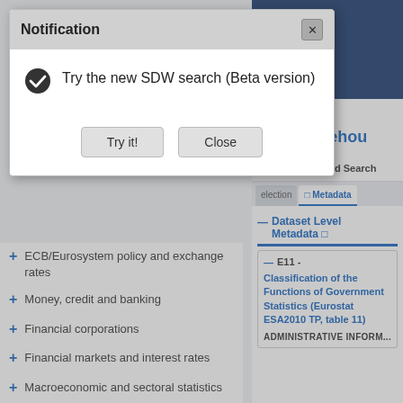[Figure (screenshot): Background showing ECB Statistical Data Warehouse web interface with left navigation sidebar and right metadata panel]
Statistical Data Warehouse
Search > Selected Search
election    □ Metadata
Dataset Level Metadata □
E11 - Classification of the Functions of Government Statistics (Eurostat ESA2010 TP, table 11)
ADMINISTRATIVE INFORM...
+ ECB/Eurosystem policy and exchange rates
+ Money, credit and banking
+ Financial corporations
+ Financial markets and interest rates
+ Macroeconomic and sectoral statistics
+ Balance of payments and other external statistics
+ Supervisory and prudential statistics
Notification
Try the new SDW search (Beta version)